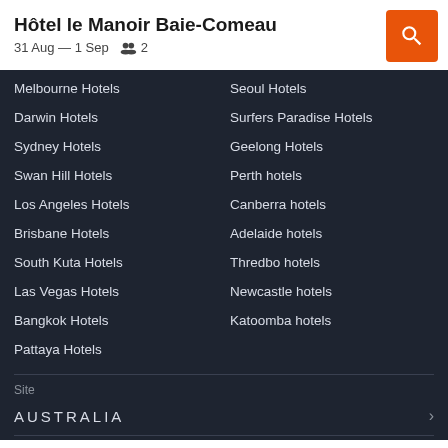Hôtel le Manoir Baie-Comeau
31 Aug — 1 Sep  👥 2
Melbourne Hotels
Seoul Hotels
Darwin Hotels
Surfers Paradise Hotels
Sydney Hotels
Geelong Hotels
Swan Hill Hotels
Perth hotels
Los Angeles Hotels
Canberra hotels
Brisbane Hotels
Adelaide hotels
South Kuta Hotels
Thredbo hotels
Las Vegas Hotels
Newcastle hotels
Bangkok Hotels
Katoomba hotels
Pattaya Hotels
Site
AUSTRALIA